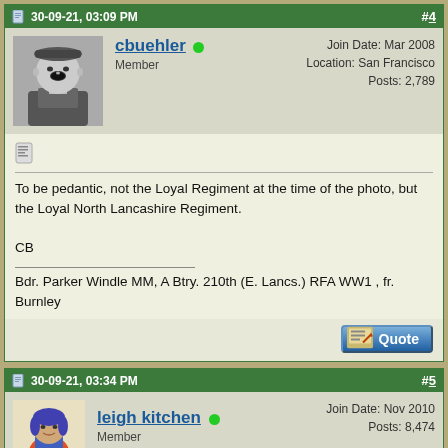30-09-21, 03:09 PM   #4
[Figure (photo): Avatar photo of a man in military uniform shouting (black and white)]
cbuehler Member  Join Date: Mar 2008 Location: San Francisco Posts: 2,789
To be pedantic, not the Loyal Regiment at the time of the photo, but the Loyal North Lancashire Regiment.

CB
Bdr. Parker Windle MM, A Btry. 210th (E. Lancs.) RFA WW1 , fr. Burnley
30-09-21, 03:34 PM   #5
[Figure (photo): Avatar image of a cartoon/illustrated figure with colorful clothing]
leigh kitchen Member  Join Date: Nov 2010 Posts: 8,474